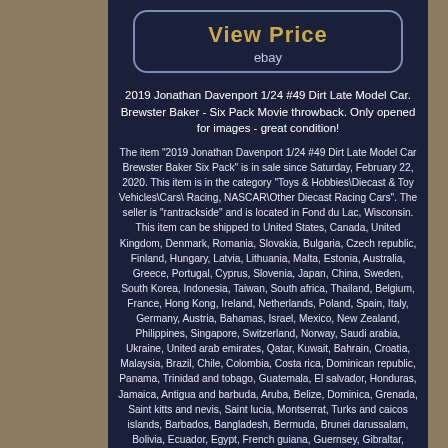[Figure (screenshot): View Price button with ebay label, dark navy background with rounded rectangle border]
2019 Jonathan Davenport 1/24 #49 Dirt Late Model Car. Brewster Baker - Six Pack Movie throwback. Only opened for images - great condition!
The item "2019 Jonathan Davenport 1/24 #49 Dirt Late Model Car Brewster Baker Six Pack" is in sale since Saturday, February 22, 2020. This item is in the category "Toys & Hobbies\Diecast & Toy Vehicles\Cars\ Racing, NASCAR\Other Diecast Racing Cars". The seller is "rantrackside" and is located in Fond du Lac, Wisconsin. This item can be shipped to United States, Canada, United Kingdom, Denmark, Romania, Slovakia, Bulgaria, Czech republic, Finland, Hungary, Latvia, Lithuania, Malta, Estonia, Australia, Greece, Portugal, Cyprus, Slovenia, Japan, China, Sweden, South Korea, Indonesia, Taiwan, South africa, Thailand, Belgium, France, Hong Kong, Ireland, Netherlands, Poland, Spain, Italy, Germany, Austria, Bahamas, Israel, Mexico, New Zealand, Philippines, Singapore, Switzerland, Norway, Saudi arabia, Ukraine, United arab emirates, Qatar, Kuwait, Bahrain, Croatia, Malaysia, Brazil, Chile, Colombia, Costa rica, Dominican republic, Panama, Trinidad and tobago, Guatemala, El salvador, Honduras, Jamaica, Antigua and barbuda, Aruba, Belize, Dominica, Grenada, Saint kitts and nevis, Saint lucia, Montserrat, Turks and caicos islands, Barbados, Bangladesh, Bermuda, Brunei darussalam, Bolivia, Ecuador, Egypt, French guiana, Guernsey, Gibraltar, Guadeloupe, Iceland, Jersey, Jordan, Cambodia, Cayman islands, Liechtenstein, Sri lanka, Luxembourg, Monaco, Macao, Martinique, Maldives, Nicaragua, Oman, Peru, Pakistan, Paraguay,